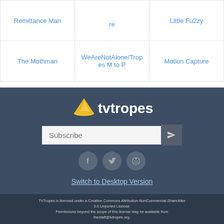| Remittance Man | (middle) | Little Fuzzy |
| --- | --- | --- |
| The Mothman | WeAreNotAlone/Tropes M to P | Motion Capture |
[Figure (logo): TV Tropes logo with yellow hat icon and white text 'tvtropes']
Subscribe
[Figure (infographic): Social media icons: Facebook, Twitter, Reddit]
Switch to Desktop Version
TVTropes is licensed under a Creative Commons Attribution-NonCommercial-ShareAlike 3.0 Unported License. Permissions beyond the scope of this license may be available from thestaff@tvtropes.org.